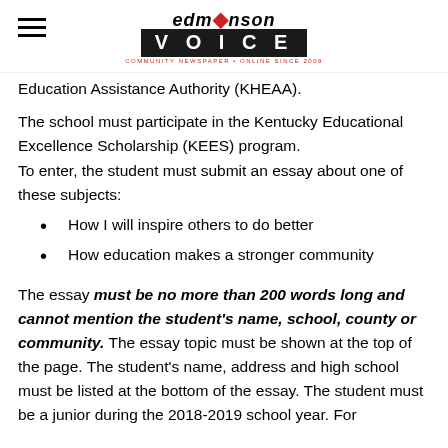Edmonson Voice
Education Assistance Authority (KHEAA).
The school must participate in the Kentucky Educational Excellence Scholarship (KEES) program.
To enter, the student must submit an essay about one of these subjects:
How I will inspire others to do better
How education makes a stronger community
The essay must be no more than 200 words long and cannot mention the student's name, school, county or community. The essay topic must be shown at the top of the page. The student's name, address and high school must be listed at the bottom of the essay. The student must be a junior during the 2018-2019 school year. For